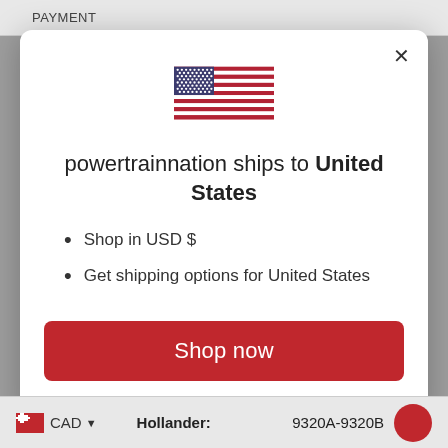PAYMENT
[Figure (illustration): US flag emoji/icon centered in modal dialog]
powertrainnation ships to United States
Shop in USD $
Get shipping options for United States
Shop now
Change shipping country